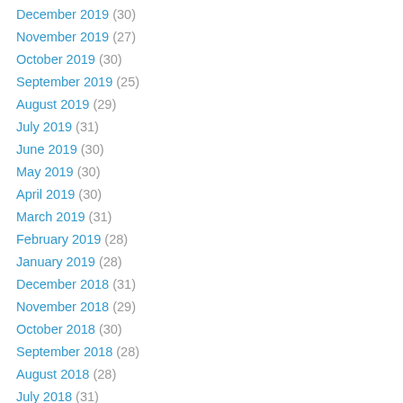December 2019 (30)
November 2019 (27)
October 2019 (30)
September 2019 (25)
August 2019 (29)
July 2019 (31)
June 2019 (30)
May 2019 (30)
April 2019 (30)
March 2019 (31)
February 2019 (28)
January 2019 (28)
December 2018 (31)
November 2018 (29)
October 2018 (30)
September 2018 (28)
August 2018 (28)
July 2018 (31)
June 2018 (29)
May 2018 (32)